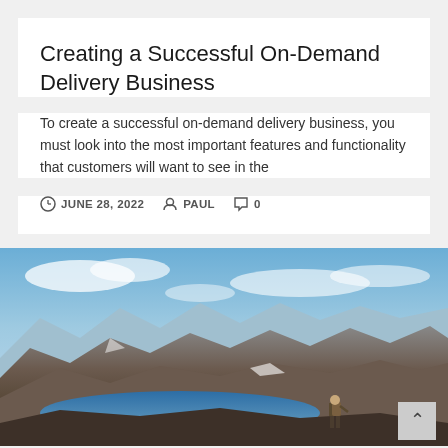Creating a Successful On-Demand Delivery Business
To create a successful on-demand delivery business, you must look into the most important features and functionality that customers will want to see in the
JUNE 28, 2022   PAUL   0
[Figure (photo): A person with a backpack standing on a rocky mountain summit overlooking a vast alpine lake and mountain range under a blue sky with clouds.]